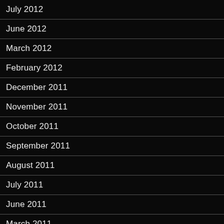July 2012
June 2012
March 2012
February 2012
December 2011
November 2011
October 2011
September 2011
August 2011
July 2011
June 2011
March 2011
December 2010